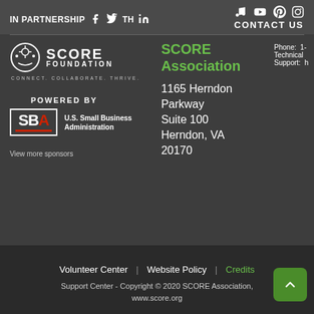IN PARTNERSHIP WITH
CONTACT US
[Figure (logo): SCORE Foundation logo with icon and tagline CONNECT. COLLABORATE. THRIVE.]
POWERED BY
[Figure (logo): U.S. Small Business Administration (SBA) logo]
SCORE Association
Phone:  1-
Technical Support: h
1165 Herndon Parkway Suite 100 Herndon, VA 20170
View more sponsors
Volunteer Center | Website Policy | Credits
Support Center - Copyright © 2020 SCORE Association, www.score.org